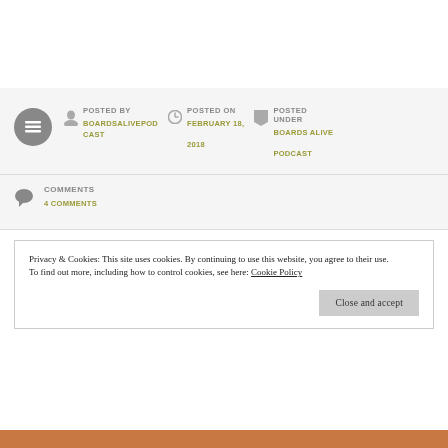POSTED BY BOARDSALIVEPODCAST
POSTED ON FEBRUARY 18, 2018
POSTED UNDER BOARDS ALIVE PODCAST
COMMENTS 4 COMMENTS
Privacy & Cookies: This site uses cookies. By continuing to use this website, you agree to their use. To find out more, including how to control cookies, see here: Cookie Policy
Close and accept